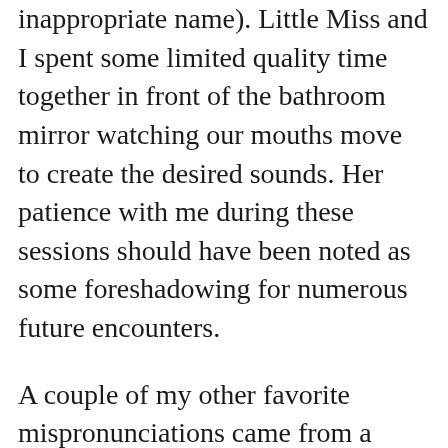inappropriate name). Little Miss and I spent some limited quality time together in front of the bathroom mirror watching our mouths move to create the desired sounds. Her patience with me during these sessions should have been noted as some foreshadowing for numerous future encounters.
A couple of my other favorite mispronunciations came from a